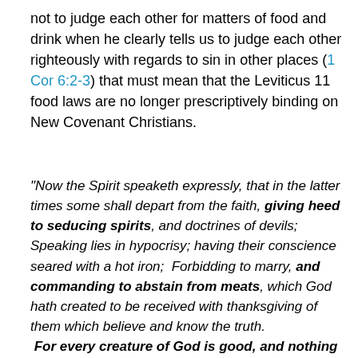not to judge each other for matters of food and drink when he clearly tells us to judge each other righteously with regards to sin in other places (1 Cor 6:2-3) that must mean that the Leviticus 11 food laws are no longer prescriptively binding on New Covenant Christians.
“Now the Spirit speaketh expressly, that in the latter times some shall depart from the faith, giving heed to seducing spirits, and doctrines of devils;  Speaking lies in hypocrisy; having their conscience seared with a hot iron;  Forbidding to marry, and commanding to abstain from meats, which God hath created to be received with thanksgiving of them which believe and know the truth.  For every creature of God is good, and nothing to be refused, if it be received with thanksgiving: For it is